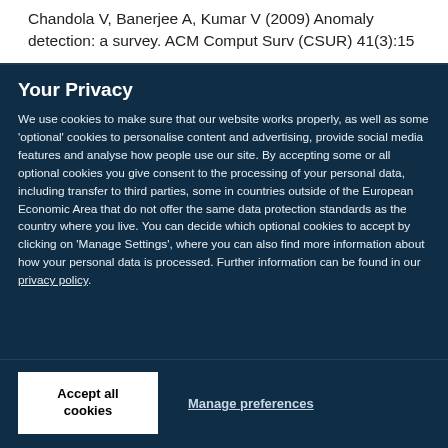Chandola V, Banerjee A, Kumar V (2009) Anomaly detection: a survey. ACM Comput Surv (CSUR) 41(3):15
Your Privacy
We use cookies to make sure that our website works properly, as well as some 'optional' cookies to personalise content and advertising, provide social media features and analyse how people use our site. By accepting some or all optional cookies you give consent to the processing of your personal data, including transfer to third parties, some in countries outside of the European Economic Area that do not offer the same data protection standards as the country where you live. You can decide which optional cookies to accept by clicking on 'Manage Settings', where you can also find more information about how your personal data is processed. Further information can be found in our privacy policy.
Accept all cookies
Manage preferences